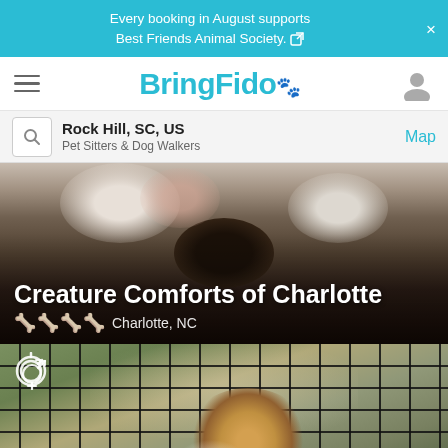Every booking in August supports Best Friends Animal Society.
BringFido
Rock Hill, SC, US
Pet Sitters & Dog Walkers
Map
[Figure (photo): Close-up photo of a black and white dog's face looking down at the camera, used as header image for Creature Comforts of Charlotte listing]
Creature Comforts of Charlotte
Charlotte, NC
[Figure (photo): Photo of a dog in a kennel/crate, with a beagle visible smiling through the cage bars, outdoor greenery in the background]